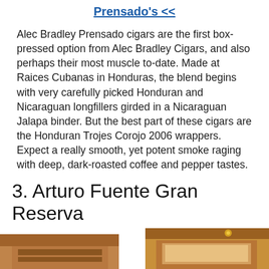Prensado's <<
Alec Bradley Prensado cigars are the first box-pressed option from Alec Bradley Cigars, and also perhaps their most muscle to-date. Made at Raices Cubanas in Honduras, the blend begins with very carefully picked Honduran and Nicaraguan longfillers girded in a Nicaraguan Jalapa binder. But the best part of these cigars are the Honduran Trojes Corojo 2006 wrappers. Expect a really smooth, yet potent smoke raging with deep, dark-roasted coffee and pepper tastes.
3. Arturo Fuente Gran Reserva
[Figure (photo): Partial image of cigar boxes at the bottom of the page, cut off]